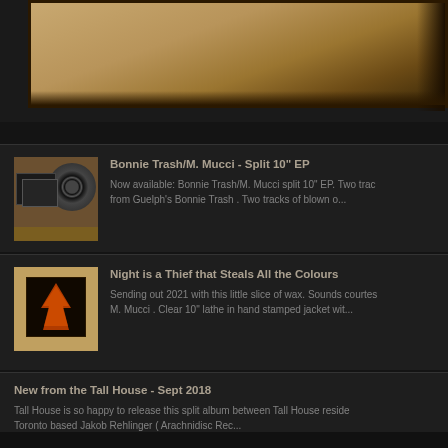[Figure (photo): Top portion of a cardboard/kraft colored surface with dark wooden border, partially cropped]
Bonnie Trash/M. Mucci - Split 10" EP
Now available: Bonnie Trash/M. Mucci split 10" EP. Two trac from Guelph's Bonnie Trash . Two tracks of blown o...
[Figure (photo): Album cover thumbnail showing a dark image with orange/red tree silhouette on kraft paper background]
Night is a Thief that Steals All the Colours
Sending out 2021 with this little slice of wax.  Sounds courtes M. Mucci .  Clear 10" lathe in hand stamped jacket wit...
New from the Tall House - Sept 2018
Tall House is so happy to release this split album between Tall House reside Toronto based Jakob Rehlinger ( Arachnidisc Rec...